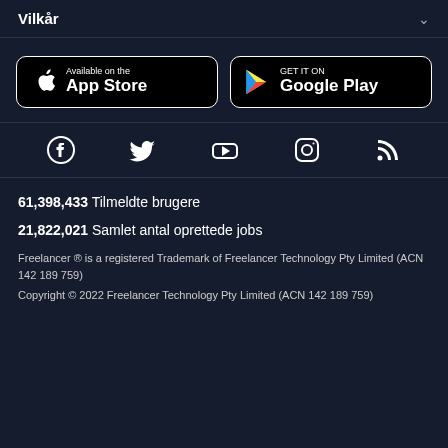Vilkår
[Figure (screenshot): App Store and Google Play download buttons]
[Figure (screenshot): Social media icons: Facebook, Twitter, YouTube, Instagram, RSS]
61,398,433   Tilmeldte brugere
21,822,021   Samlet antal oprettede jobs
Freelancer ® is a registered Trademark of Freelancer Technology Pty Limited (ACN 142 189 759)
Copyright © 2022 Freelancer Technology Pty Limited (ACN 142 189 759)